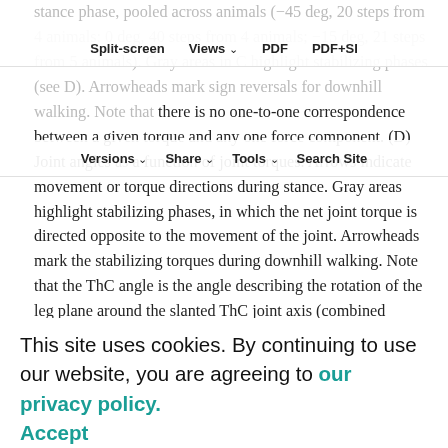stance phase, pooled across animals (−45 deg, 20 steps from 4 animals; 0 deg, 40 steps from 4 animals; −15 deg, 21 steps from 5 animals). Gray areas in C highlight stabilizing phases (see D). Arrowheads mark sign reversals for downhill walking. Note that there is no one-to-one correspondence between a given torque and any one force component. (D) Joint angles as a function of joint torques. Arrows indicate movement or torque directions during stance. Gray areas highlight stabilizing phases, in which the net joint torque is directed opposite to the movement of the joint. Arrowheads mark the stabilizing torques during downhill walking. Note that the ThC angle is the angle describing the rotation of the leg plane around the slanted ThC joint axis (combined protraction and supination, see Fig. 1B). Sample numbers as in B and C.
Fig. 4.
This site uses cookies. By continuing to use our website, you are agreeing to our privacy policy. Accept